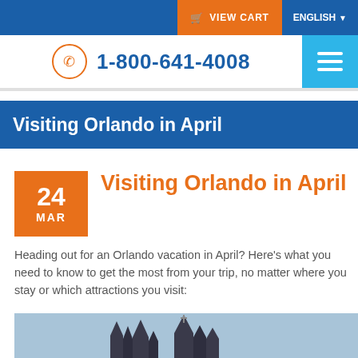VIEW CART   ENGLISH
1-800-641-4008
Visiting Orlando in April
Visiting Orlando in April
Heading out for an Orlando vacation in April? Here's what you need to know to get the most from your trip, no matter where you stay or which attractions you visit:
[Figure (photo): Castle or building spires against a blue sky, likely a theme park attraction in Orlando]